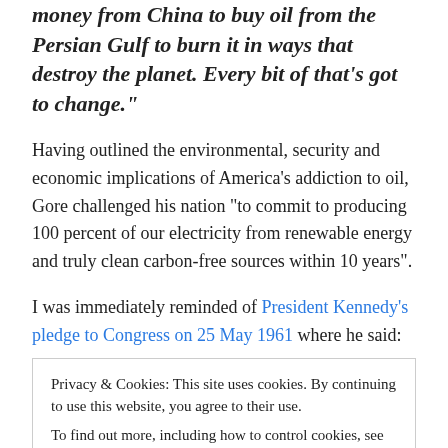money from China to buy oil from the Persian Gulf to burn it in ways that destroy the planet. Every bit of that's got to change."
Having outlined the environmental, security and economic implications of America's addiction to oil, Gore challenged his nation “to commit to producing 100 percent of our electricity from renewable energy and truly clean carbon-free sources within 10 years”.
I was immediately reminded of President Kennedy’s pledge to Congress on 25 May 1961 where he said:
Privacy & Cookies: This site uses cookies. By continuing to use this website, you agree to their use.
To find out more, including how to control cookies, see here: Cookie Policy
“When President John F. Kennedy challenged our nation